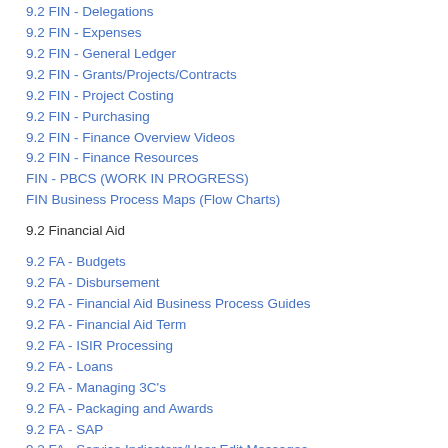9.2 FIN - Delegations
9.2 FIN - Expenses
9.2 FIN - General Ledger
9.2 FIN - Grants/Projects/Contracts
9.2 FIN - Project Costing
9.2 FIN - Purchasing
9.2 FIN - Finance Overview Videos
9.2 FIN - Finance Resources
FIN - PBCS (WORK IN PROGRESS)
FIN Business Process Maps (Flow Charts)
9.2 Financial Aid
9.2 FA - Budgets
9.2 FA - Disbursement
9.2 FA - Financial Aid Business Process Guides
9.2 FA - Financial Aid Term
9.2 FA - ISIR Processing
9.2 FA - Loans
9.2 FA - Managing 3C's
9.2 FA - Packaging and Awards
9.2 FA - SAP
9.2 FA - Service Indicators/User Edit Messages
9.2 FA - Student Access
9.2 FA - User Set Up
9.2 FA - Return to Title IV